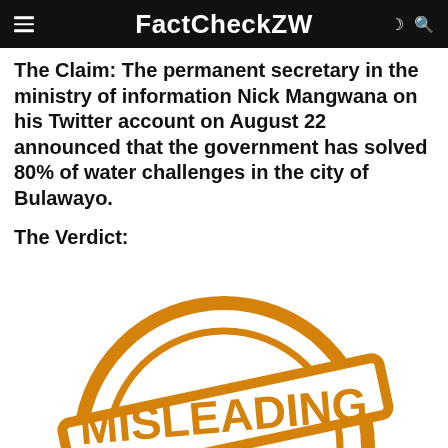FactCheckZW
The Claim: The permanent secretary in the ministry of information Nick Mangwana on his Twitter account on August 22 announced that the government has solved 80% of water challenges in the city of Bulawayo.
The Verdict:
[Figure (illustration): A circular stamp-style graphic in orange outline reading 'MISLEADING', with a semi-circle arc on top and a banner across the middle containing the text MISLEADING in bold orange letters.]